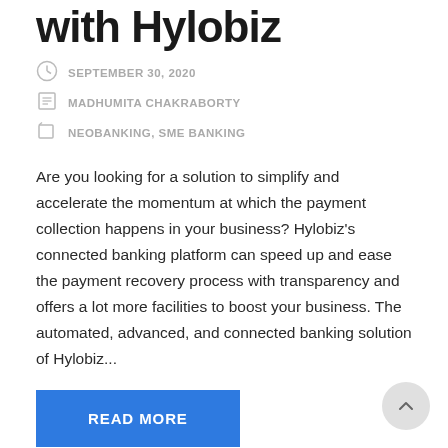with Hylobiz
SEPTEMBER 30, 2020
MADHUMITA CHAKRABORTY
NEOBANKING, SME BANKING
Are you looking for a solution to simplify and accelerate the momentum at which the payment collection happens in your business? Hylobiz's connected banking platform can speed up and ease the payment recovery process with transparency and offers a lot more facilities to boost your business. The automated, advanced, and connected banking solution of Hylobiz...
READ MORE